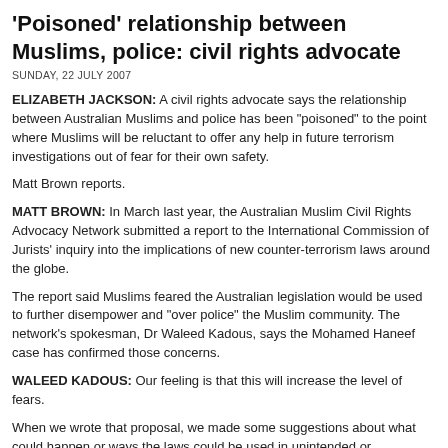'Poisoned' relationship between Muslims, police: civil rights advocate
SUNDAY, 22 JULY 2007
ELIZABETH JACKSON: A civil rights advocate says the relationship between Australian Muslims and police has been "poisoned" to the point where Muslims will be reluctant to offer any help in future terrorism investigations out of fear for their own safety.
Matt Brown reports.
MATT BROWN: In March last year, the Australian Muslim Civil Rights Advocacy Network submitted a report to the International Commission of Jurists' inquiry into the implications of new counter-terrorism laws around the globe.
The report said Muslims feared the Australian legislation would be used to further disempower and "over police" the Muslim community. The network's spokesman, Dr Waleed Kadous, says the Mohamed Haneef case has confirmed those concerns.
WALEED KADOUS: Our feeling is that this will increase the level of fears.
When we wrote that proposal, we made some suggestions about what could happen or ways the laws could be used in unintended or unexpected ways. And to see them applied in that way in practice is extremely frustrating. And I think many Muslims will become fearful that they're being targeted.
MATT BROWN: The fears come after irregularities were found in the evidence against Mohamed Haneef. The police affidavit submitted during the bail hearing has at least four